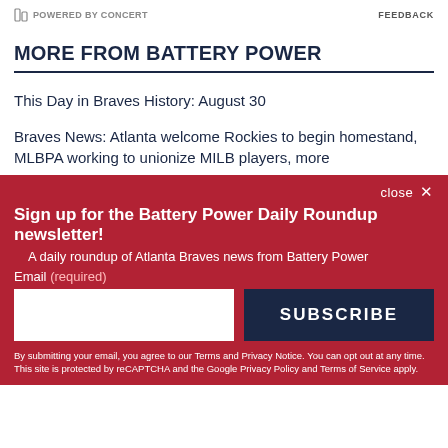POWERED BY CONCERT   FEEDBACK
MORE FROM BATTERY POWER
This Day in Braves History: August 30
Braves News: Atlanta welcome Rockies to begin homestand, MLBPA working to unionize MILB players, more
close ×
Sign up for the Battery Power Daily Roundup newsletter!
A daily roundup of Atlanta Braves news from Battery Power
Email (required)
SUBSCRIBE
By submitting your email, you agree to our Terms and Privacy Notice. You can opt out at any time. This site is protected by reCAPTCHA and the Google Privacy Policy and Terms of Service apply.